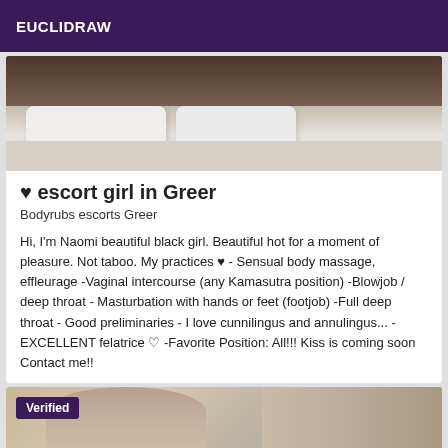EUCLIDRAW
[Figure (photo): Photo of a bed with white pillows and blanket, dark headboard visible at top]
♥ escort girl in Greer
Bodyrubs escorts Greer
Hi, I'm Naomi beautiful black girl. Beautiful hot for a moment of pleasure. Not taboo. My practices ♥ - Sensual body massage, effleurage -Vaginal intercourse (any Kamasutra position) -Blowjob / deep throat - Masturbation with hands or feet (footjob) -Full deep throat - Good preliminaries - I love cunnilingus and annulingus... - EXCELLENT felatrice 🌟 -Favorite Position: All!!! Kiss is coming soon Contact me!!
[Figure (photo): Photo of a woman with brown hair, partially visible, with a Verified badge in the top left corner]